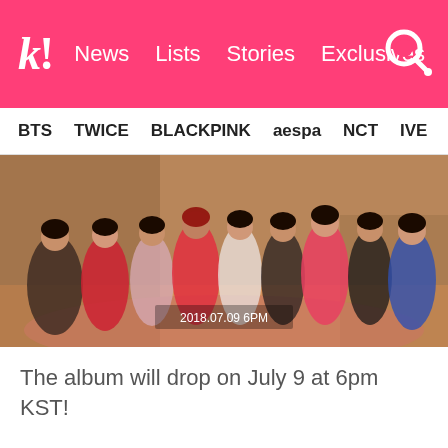k! News Lists Stories Exclusives
BTS TWICE BLACKPINK aespa NCT IVE SHINE
[Figure (photo): Group photo of approximately 9 K-pop female artists posed together on a beach/sandy setting, wearing colorful dresses. Text overlay reads '2018.07.09 6PM']
The album will drop on July 9 at 6pm KST!
The track was produced by some big names in international music, written by Wheesung and composed and arranged by Swedish track